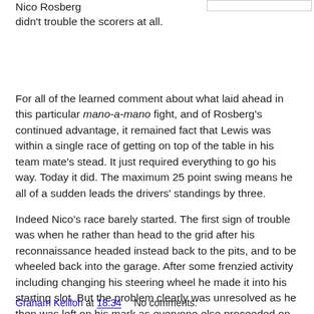Nico Rosberg didn't trouble the scorers at all.
For all of the learned comment about what laid ahead in this particular mano-a-mano fight, and of Rosberg's continued advantage, it remained fact that Lewis was within a single race of getting on top of the table in his team mate's stead. It just required everything to go his way. Today it did. The maximum 25 point swing means he all of a sudden leads the drivers' standings by three.
Indeed Nico's race barely started. The first sign of trouble was when he rather than head to the grid after his reconnaissance headed instead back to the pits, and to be wheeled back into the garage. After some frenzied activity including changing his steering wheel he made it into his starting slot. But the problem clearly was unresolved as he then was left on his mark as everyone else proceeded on their warm up lap.
Graham Keilloh at 18:34   No comments: